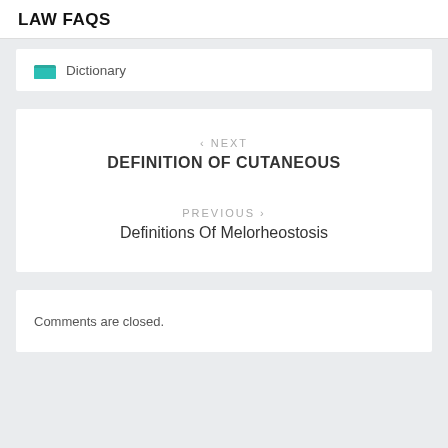LAW FAQS
Dictionary
‹ NEXT
DEFINITION OF CUTANEOUS
PREVIOUS ›
Definitions Of Melorheostosis
Comments are closed.